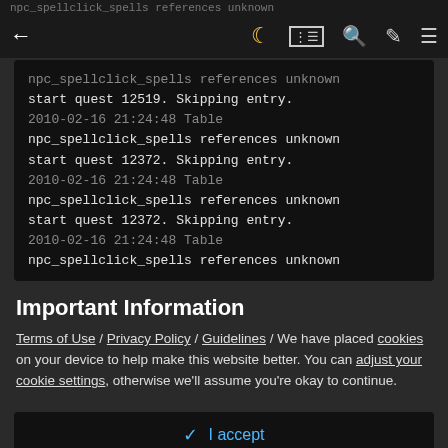npc_spellclick_spells references unknown
npc_spellclick_spells references unknown start quest 12519. Skipping entry.
2010-02-16 21:24:48 Table
npc_spellclick_spells references unknown start quest 12372. Skipping entry.
2010-02-16 21:24:48 Table
npc_spellclick_spells references unknown start quest 12372. Skipping entry.
2010-02-16 21:24:48 Table
npc_spellclick_spells references unknown
Important Information
Terms of Use / Privacy Policy / Guidelines / We have placed cookies on your device to help make this website better. You can adjust your cookie settings, otherwise we'll assume you're okay to continue.
✓ I accept